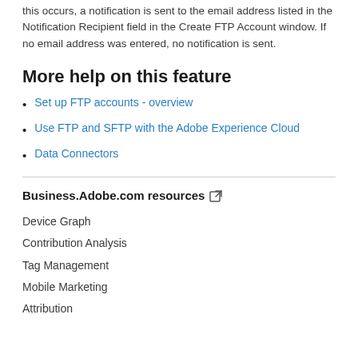this occurs, a notification is sent to the email address listed in the Notification Recipient field in the Create FTP Account window. If no email address was entered, no notification is sent.
More help on this feature
Set up FTP accounts - overview
Use FTP and SFTP with the Adobe Experience Cloud
Data Connectors
Business.Adobe.com resources
Device Graph
Contribution Analysis
Tag Management
Mobile Marketing
Attribution